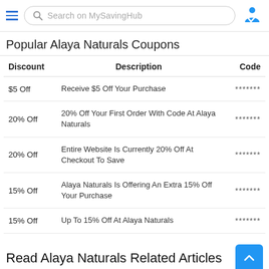Search on MySavingHub
Popular Alaya Naturals Coupons
| Discount | Description | Code |
| --- | --- | --- |
| $5 Off | Receive $5 Off Your Purchase | ******* |
| 20% Off | 20% Off Your First Order With Code At Alaya Naturals | ******* |
| 20% Off | Entire Website Is Currently 20% Off At Checkout To Save | ******* |
| 15% Off | Alaya Naturals Is Offering An Extra 15% Off Your Purchase | ******* |
| 15% Off | Up To 15% Off At Alaya Naturals | ******* |
Read Alaya Naturals Related Articles